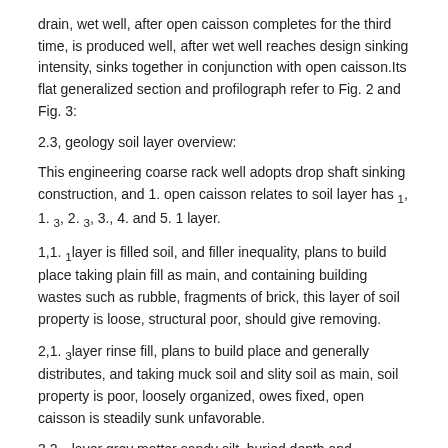drain, wet well, after open caisson completes for the third time, is produced well, after wet well reaches design sinking intensity, sinks together in conjunction with open caisson.Its flat generalized section and profilograph refer to Fig. 2 and Fig. 3:
2.3, geology soil layer overview:
This engineering coarse rack well adopts drop shaft sinking construction, and 1. open caisson relates to soil layer has ₁, 1. ₃, 2. ₃, 3., 4. and 5. 1 layer.
1,1. ₁layer is filled soil, and filler inequality, plans to build place taking plain fill as main, and containing building wastes such as rubble, fragments of brick, this layer of soil property is loose, structural poor, should give removing.
2,1. ₃layer rinse fill, plans to build place and generally distributes, and taking muck soil and slity soil as main, soil property is poor, loosely organized, owes fixed, open caisson is steadily sunk unfavorable.
3,2. ₃layer grey matter sandy silt, buried depth and